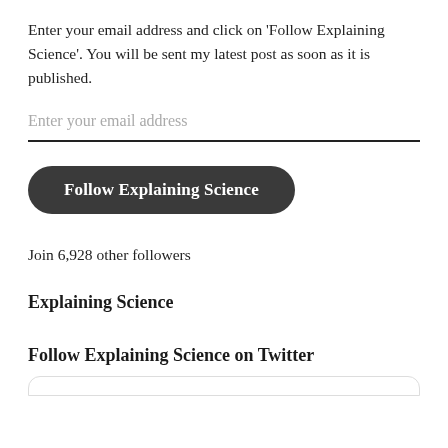Enter your email address and click on 'Follow Explaining Science'. You will be sent my latest post as soon as it is published.
Enter your email address
Follow Explaining Science
Join 6,928 other followers
Explaining Science
Follow Explaining Science on Twitter